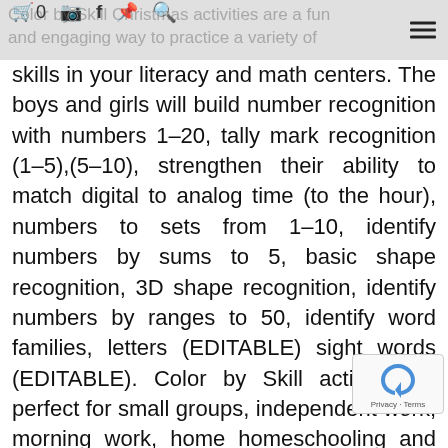Color by Skill Christmas activities are a fun and engaging way to practice a variety of [icons: cart 0, instagram, facebook, pinterest, search, hamburger menu]
skills in your literacy and math centers. The boys and girls will build number recognition with numbers 1-20, tally mark recognition (1-5),(5-10), strengthen their ability to match digital to analog time (to the hour), numbers to sets from 1-10, identify numbers by sums to 5, basic shape recognition, 3D shape recognition, identify numbers by ranges to 50, identify word families, letters (EDITABLE) sight words (EDITABLE). Color by Skill activities is perfect for small groups, independent work, morning work, home homeschooling and reading interve The themes for December are Holidays,